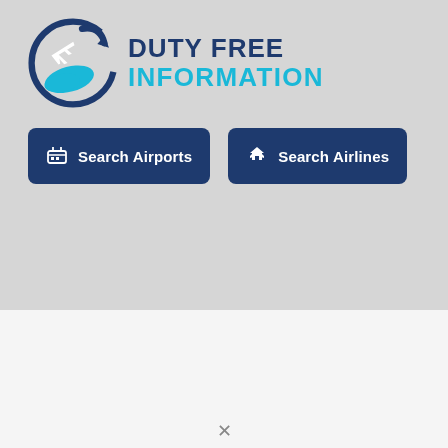[Figure (logo): Duty Free Information logo: circular icon with airplane and wave/hand shapes in dark blue and cyan, next to text 'DUTY FREE INFORMATION' in dark navy and cyan]
Search Airports
Search Airlines